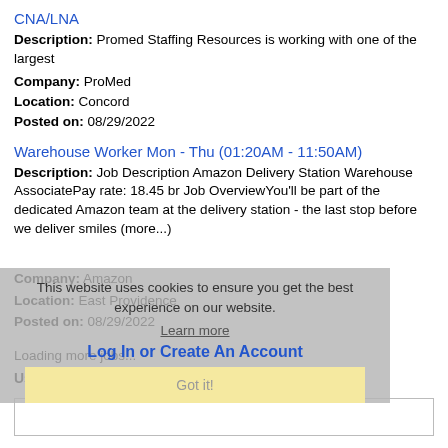CNA/LNA
Description: Promed Staffing Resources is working with one of the largest
Company: ProMed
Location: Concord
Posted on: 08/29/2022
Warehouse Worker Mon - Thu (01:20AM - 11:50AM)
Description: Job Description Amazon Delivery Station Warehouse AssociatePay rate: 18.45 br Job OverviewYou'll be part of the dedicated Amazon team at the delivery station - the last stop before we deliver smiles (more...)
Company: Amazon
Location: East Providence
Posted on: 08/29/2022
Loading more jobs...
This website uses cookies to ensure you get the best experience on our website.
Learn more
Log In or Create An Account
Got it!
Username: